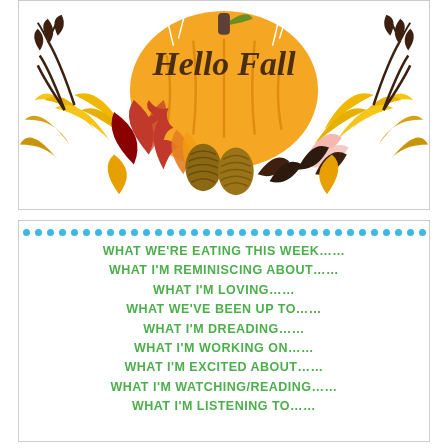[Figure (illustration): Hello Fall autumn illustration with large orange pumpkin, script text 'Hello Fall', and colorful autumn foliage including yellow, red, brown leaves, pine cones, and branches]
WHAT WE'RE EATING THIS WEEK……
WHAT I'M REMINISCING ABOUT……
WHAT I'M LOVING……
WHAT WE'VE BEEN UP TO……
WHAT I'M DREADING……
WHAT I'M WORKING ON……
WHAT I'M EXCITED ABOUT……
WHAT I'M WATCHING/READING……
WHAT I'M LISTENING TO……